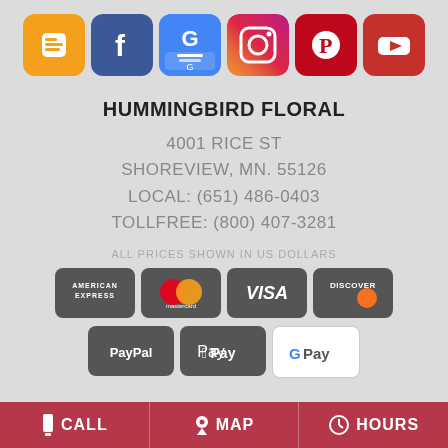[Figure (infographic): Row of social media icons: Blogger (orange), Facebook (blue), Google My Business (blue/white), Instagram (gradient), Pinterest (red), YouTube (red)]
HUMMINGBIRD FLORAL
4001 RICE ST
SHOREVIEW, MN. 55126
LOCAL: (651) 486-0403
TOLLFREE: (800) 407-3281
ALL PRICES SHOWN IN US DOLLARS
[Figure (infographic): Payment method icons: American Express, Mastercard, Visa, Discover, PayPal, Apple Pay, Google Pay]
CALL   MAP   HOURS